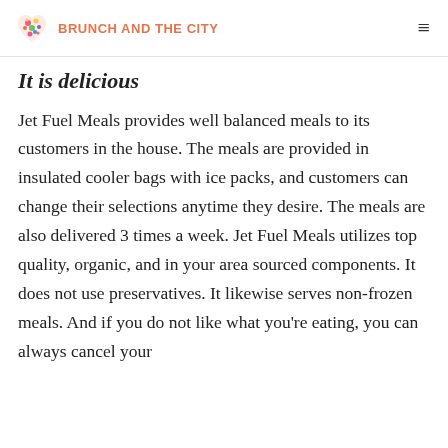BRUNCH AND THE CITY
It is delicious
Jet Fuel Meals provides well balanced meals to its customers in the house. The meals are provided in insulated cooler bags with ice packs, and customers can change their selections anytime they desire. The meals are also delivered 3 times a week. Jet Fuel Meals utilizes top quality, organic, and in your area sourced components. It does not use preservatives. It likewise serves non-frozen meals. And if you do not like what you're eating, you can always cancel your